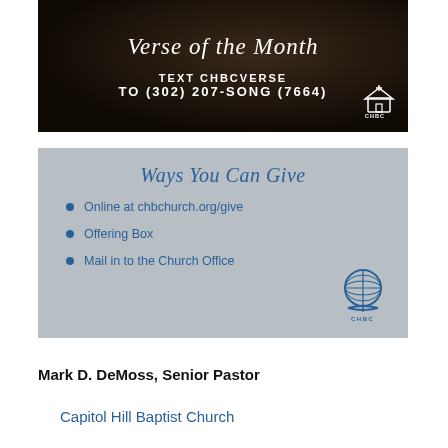[Figure (infographic): Dark banner with 'Verse of the Month' in cursive white text, with microphone background. TEXT CHBCVERSE TO (302) 207-SONG (7664) in white bold text. Small CHBC church logo bottom right.]
[Figure (infographic): Gray banner titled 'Ways You Can Give' with three bullet points in blue: 'Online at chbchurch.org/give', 'Offering Box', 'Mail in to the Church Office'. CHBC globe logo bottom right.]
Mark D. DeMoss, Senior Pastor
Capitol Hill Baptist Church